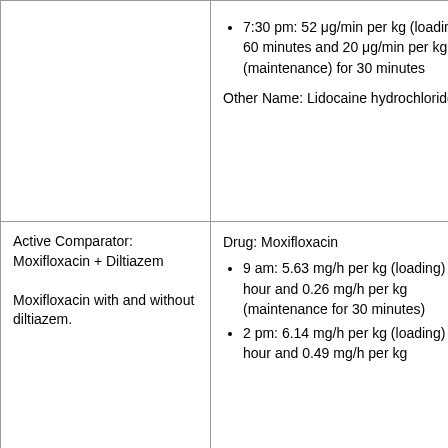|  | • 7:30 pm: 52 μg/min per kg (loading) for 60 minutes and 20 μg/min per kg (maintenance) for 30 minutes
Other Name: Lidocaine hydrochloride |
| Active Comparator: Moxifloxacin + Diltiazem
Moxifloxacin with and without diltiazem. | Drug: Moxifloxacin
• 9 am: 5.63 mg/h per kg (loading) for 1 hour and 0.26 mg/h per kg (maintenance for 30 minutes)
• 2 pm: 6.14 mg/h per kg (loading) for 1 hour and 0.49 mg/h per kg |